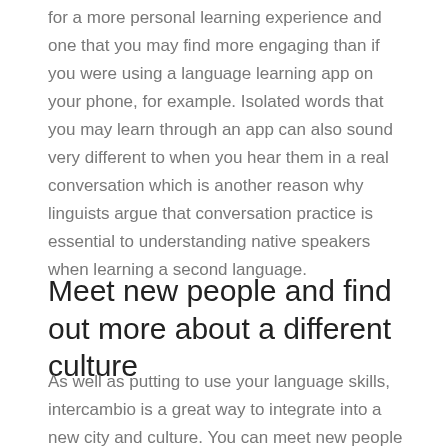for a more personal learning experience and one that you may find more engaging than if you were using a language learning app on your phone, for example. Isolated words that you may learn through an app can also sound very different to when you hear them in a real conversation which is another reason why linguists argue that conversation practice is essential to understanding native speakers when learning a second language.
Meet new people and find out more about a different culture
As well as putting to use your language skills, intercambio is a great way to integrate into a new city and culture. You can meet new people and find recommendations for local food, bars, clubs and